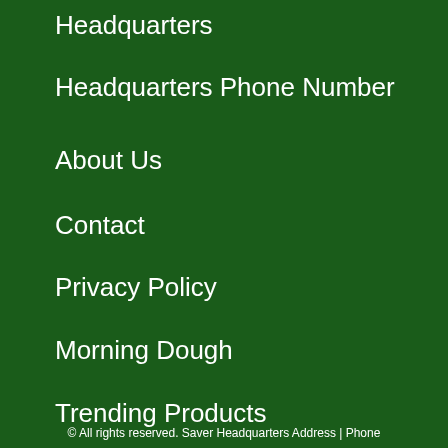Headquarters
Headquarters Phone Number
About Us
Contact
Privacy Policy
Morning Dough
Trending Products
© All rights reserved. Saver Headquarters Address | Phone